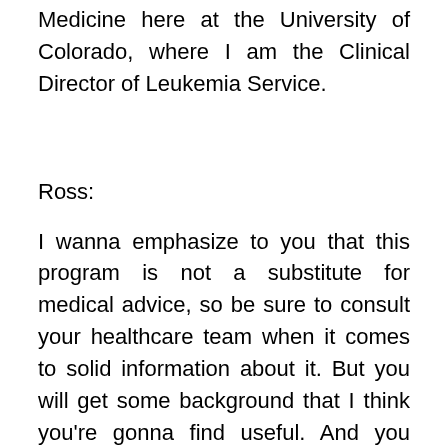Medicine here at the University of Colorado, where I am the Clinical Director of Leukemia Service.
Ross:
I wanna emphasize to you that this program is not a substitute for medical advice, so be sure to consult your healthcare team when it comes to solid information about it. But you will get some background that I think you're gonna find useful. And you might have some questions as we go along.
Dr. Pollyea, let's start out with the basics. What are the causes of AML?